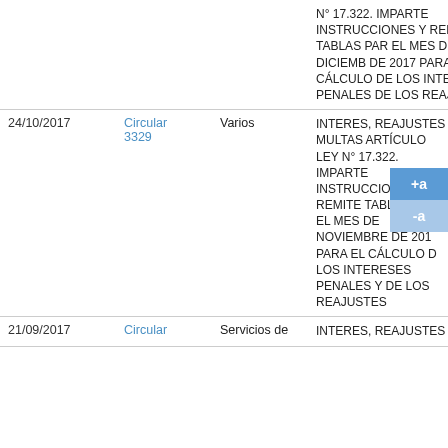| Fecha | Circular | Destinatario | Descripción |
| --- | --- | --- | --- |
|  |  |  | N° 17.322. IMPARTE INSTRUCCIONES Y REMITE TABLAS PAR EL MES DE DICIEMB DE 2017 PARA EL CÁLCULO DE LOS INTERESES PENALES DE LOS REAJUSTES |
| 24/10/2017 | Circular 3329 | Varios | INTERES, REAJUSTES MULTAS ARTÍCULO LEY N° 17.322. IMPARTE INSTRUCCIONES Y REMITE TABLAS PAR EL MES DE NOVIEMBRE DE 201 PARA EL CÁLCULO D LOS INTERESES PENALES Y DE LOS REAJUSTES |
| 21/09/2017 | Circular | Servicios de | INTERES, REAJUSTES |